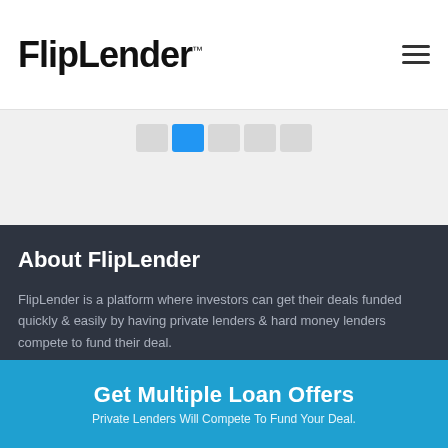FlipLender™
[Figure (other): Pagination strip with multiple page buttons, one highlighted in blue]
About FlipLender
FlipLender is a platform where investors can get their deals funded quickly & easily by having private lenders & hard money lenders compete to fund their deal.
[Figure (infographic): Row of four social media icons: Facebook (purple-blue), Instagram (pink-red), Twitter (blue), LinkedIn (teal)]
Get Multiple Loan Offers
Private Lenders Will Compete To Fund Your Deal.